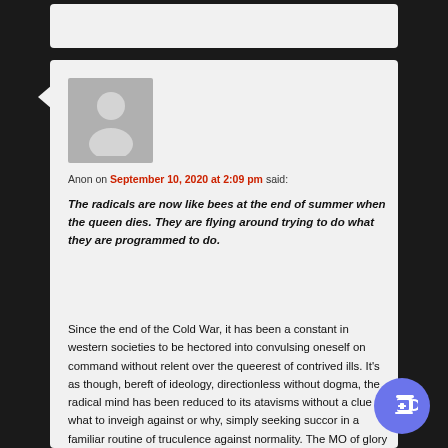Anon on September 10, 2020 at 2:09 pm said:
The radicals are now like bees at the end of summer when the queen dies. They are flying around trying to do what they are programmed to do.
Since the end of the Cold War, it has been a constant in western societies to be hectored into convulsing oneself on command without relent over the queerest of contrived ills. It’s as though, bereft of ideology, directionless without dogma, the radical mind has been reduced to its atavisms without a clue what to inveigh against or why, simply seeking succor in a familiar routine of truculence against normality. The MO of glory days activism— the manufactured urgency, the